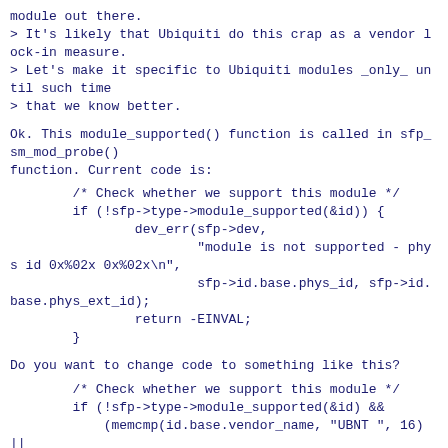module out there.
> It's likely that Ubiquiti do this crap as a vendor lock-in measure.
> Let's make it specific to Ubiquiti modules _only_ until such time
> that we know better.
Ok. This module_supported() function is called in sfp_sm_mod_probe()
function. Current code is:
/* Check whether we support this module */
if (!sfp->type->module_supported(&id)) {
    dev_err(sfp->dev,
        "module is not supported - phys id 0x%02x 0x%02x\n",
        sfp->id.base.phys_id, sfp->id.base.phys_ext_id);
    return -EINVAL;
}
Do you want to change code to something like this?
/* Check whether we support this module */
if (!sfp->type->module_supported(&id) &&
    (memcmp(id.base.vendor_name, "UBNT", 16) ||
        memcmp(id.base.vendor_pn, "UF-INSTANT", 16)))
    dev_err(sfp->dev,